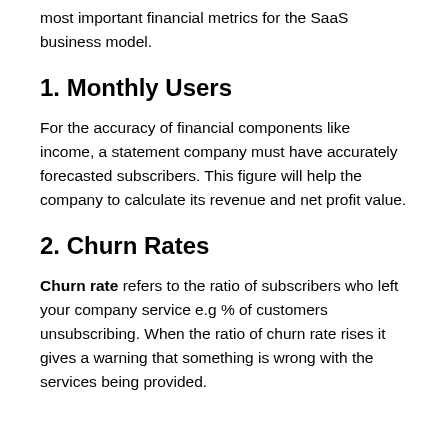most important financial metrics for the SaaS business model.
1. Monthly Users
For the accuracy of financial components like income, a statement company must have accurately forecasted subscribers. This figure will help the company to calculate its revenue and net profit value.
2. Churn Rates
Churn rate refers to the ratio of subscribers who left your company service e.g % of customers unsubscribing. When the ratio of churn rate rises it gives a warning that something is wrong with the services being provided.